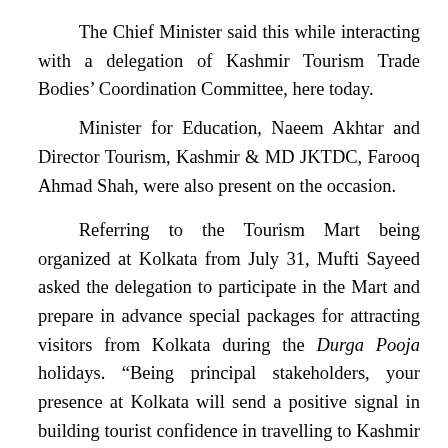The Chief Minister said this while interacting with a delegation of Kashmir Tourism Trade Bodies' Coordination Committee, here today. Minister for Education, Naeem Akhtar and Director Tourism, Kashmir & MD JKTDC, Farooq Ahmad Shah, were also present on the occasion. Referring to the Tourism Mart being organized at Kolkata from July 31, Mufti Sayeed asked the delegation to participate in the Mart and prepare in advance special packages for attracting visitors from Kolkata during the Durga Pooja holidays. “Being principal stakeholders, your presence at Kolkata will send a positive signal in building tourist confidence in travelling to Kashmir this season,” he said while indicating to the delegation to promote Valley as an all-season